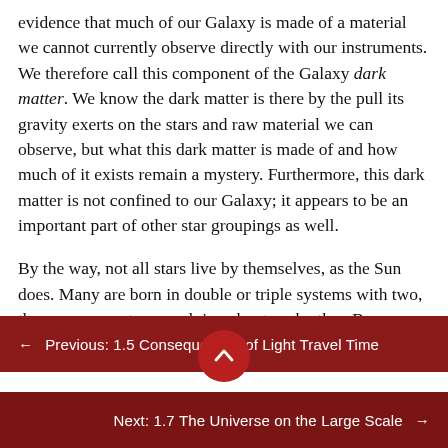evidence that much of our Galaxy is made of a material we cannot currently observe directly with our instruments. We therefore call this component of the Galaxy dark matter. We know the dark matter is there by the pull its gravity exerts on the stars and raw material we can observe, but what this dark matter is made of and how much of it exists remain a mystery. Furthermore, this dark matter is not confined to our Galaxy; it appears to be an important part of other star groupings as well.
By the way, not all stars live by themselves, as the Sun does. Many are born in double or triple systems with two, three, or more stars revolving about each other. Because the stars influence each other in such close systems,
← Previous: 1.5 Consequences of Light Travel Time
Next: 1.7 The Universe on the Large Scale →